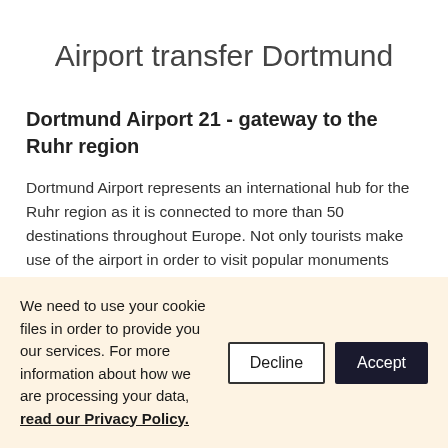Airport transfer Dortmund
Dortmund Airport 21 - gateway to the Ruhr region
Dortmund Airport represents an international hub for the Ruhr region as it is connected to more than 50 destinations throughout Europe. Not only tourists make use of the airport in order to visit popular monuments such as “Zeche Zollverein”, but also business travellers profit from Airport 21 guaranteeing
We need to use your cookie files in order to provide you our services. For more information about how we are processing your data, read our Privacy Policy.